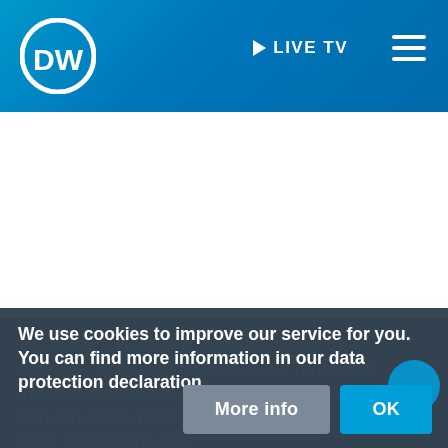DW LIVE TV
[Figure (screenshot): DW (Deutsche Welle) website screenshot showing header with DW logo, LIVE TV link and hamburger menu on a blue gradient background, with a white content area below]
Germany's Wirecard debacle is just one example of a scandal that could have been avoided if those in charge of oversight had actually done their job, says Kate Ferguson.
We use cookies to improve our service for you. You can find more information in our data protection declaration.
More info
OK